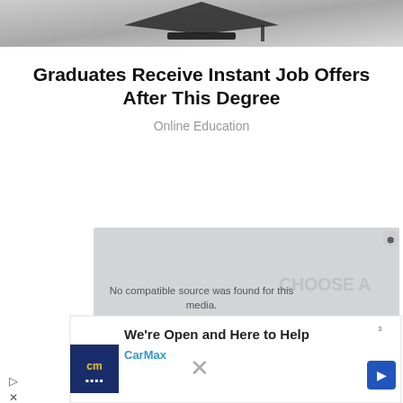[Figure (photo): Partial view of a graduation cap on a dark background, cropped at the top of the page]
Graduates Receive Instant Job Offers After This Degree
Online Education
[Figure (screenshot): Advertisement overlay: CarMax ad banner reading 'We're Open and Here to Help' with CarMax branding and logo, overlaid on a video popup showing 'No compatible source was found for this media.' with a close button]